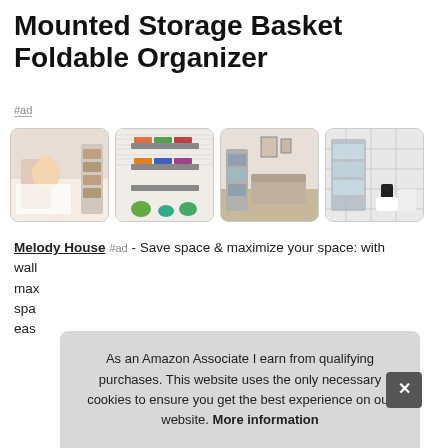Mounted Storage Basket Foldable Organizer
#ad
[Figure (photo): Four product images of wall-mounted storage basket/organizer in various room settings]
Melody House #ad - Save space & maximize your space: with wall... max... spa... eas...
As an Amazon Associate I earn from qualifying purchases. This website uses the only necessary cookies to ensure you get the best experience on our website. More information